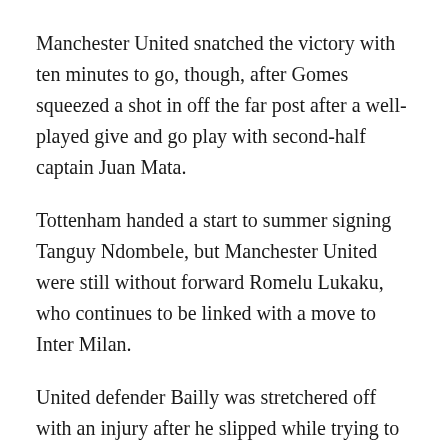Manchester United snatched the victory with ten minutes to go, though, after Gomes squeezed a shot in off the far post after a well-played give and go play with second-half captain Juan Mata.
Tottenham handed a start to summer signing Tanguy Ndombele, but Manchester United were still without forward Romelu Lukaku, who continues to be linked with a move to Inter Milan.
United defender Bailly was stretchered off with an injury after he slipped while trying to track and was replaced by Axel Tuanzebe.
Solskjaer's side will next face Norwegian side